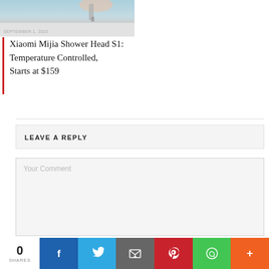[Figure (photo): Partial view of a person holding a shower head, cropped at top]
SEPTEMBER 1, 2022
Xiaomi Mijia Shower Head S1: Temperature Controlled, Starts at $159
LEAVE A REPLY
Your Comment
0 SHARES
[Figure (infographic): Social share bar with Facebook, Twitter, Email, Pinterest, WhatsApp, and More buttons showing 0 shares]